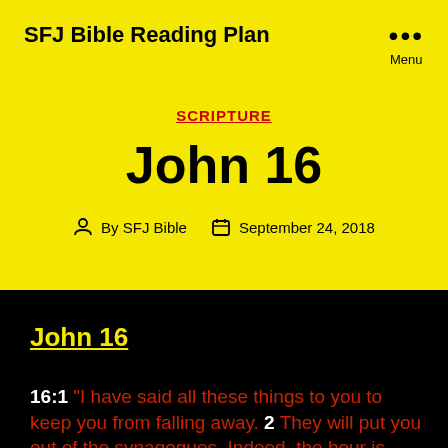SFJ Bible Reading Plan
SCRIPTURE
John 16
By SFJ Bible   September 24, 2018
John 16
16:1 "I have said all these things to you to keep you from falling away. 2 They will put you out of the synagogues. Indeed, the hour is coming